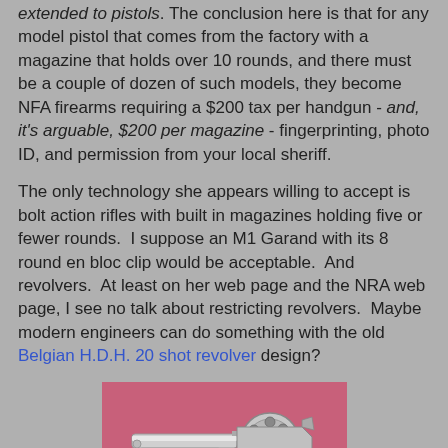extended to pistols. The conclusion here is that for any model pistol that comes from the factory with a magazine that holds over 10 rounds, and there must be a couple of dozen of such models, they become NFA firearms requiring a $200 tax per handgun - and, it's arguable, $200 per magazine - fingerprinting, photo ID, and permission from your local sheriff.
The only technology she appears willing to accept is bolt action rifles with built in magazines holding five or fewer rounds. I suppose an M1 Garand with its 8 round en bloc clip would be acceptable. And revolvers. At least on her web page and the NRA web page, I see no talk about restricting revolvers. Maybe modern engineers can do something with the old Belgian H.D.H. 20 shot revolver design?
[Figure (photo): A photograph of a Belgian H.D.H. 20 shot revolver on a pink/magenta background. The revolver is silver/chrome colored and shown from the left side, displaying its cylinder, barrel, and grip.]